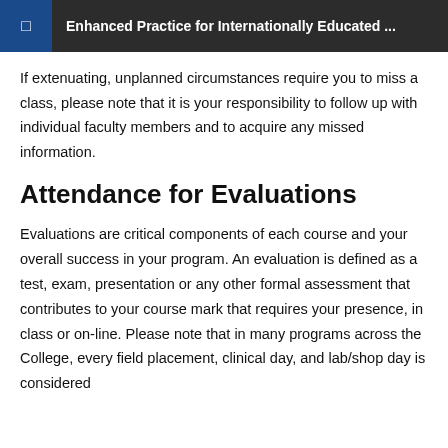Enhanced Practice for Internationally Educated ...
If extenuating, unplanned circumstances require you to miss a class, please note that it is your responsibility to follow up with individual faculty members and to acquire any missed information.
Attendance for Evaluations
Evaluations are critical components of each course and your overall success in your program. An evaluation is defined as a test, exam, presentation or any other formal assessment that contributes to your course mark that requires your presence, in class or on-line. Please note that in many programs across the College, every field placement, clinical day, and lab/shop day is considered